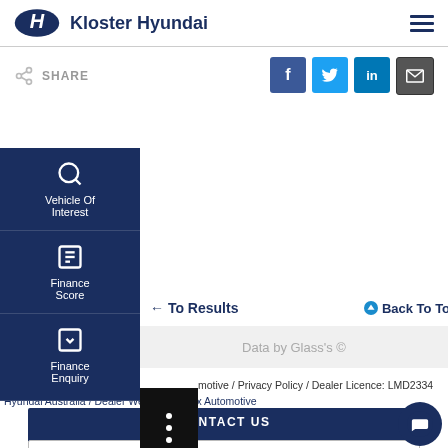Kloster Hyundai
SHARE
Vehicle Of Interest
Finance Score
Finance Enquiry
← Back To Results
Back To Top
Data by Glass's ©
motive / Privacy Policy / Dealer Licence: LMD2334
Hyundai Australia / Dealer Website by Cox Automotive
CONTACT US
FINANCE THIS VEHICLE